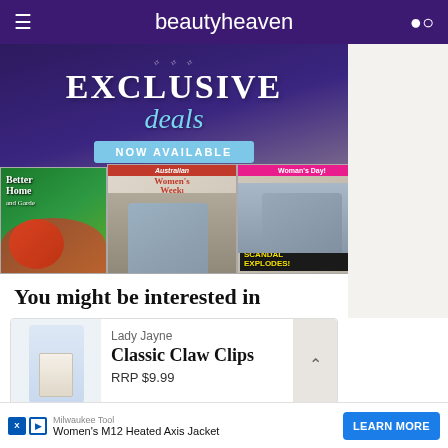beautyheaven
[Figure (photo): Advertisement banner showing 'EXCLUSIVE deals NOW AVAILABLE' with magazine covers including Better Homes and Gardens, Women's Weekly, and Woman's Day with 'BOARDING SCHOOL SCANDAL EXPLODES!' headline]
You might be interested in
[Figure (photo): Lady Jayne Classic Claw Clips product image]
Lady Jayne
Classic Claw Clips
RRP $9.99
Milwaukee Tool Women's M12 Heated Axis Jacket  LEARN MORE